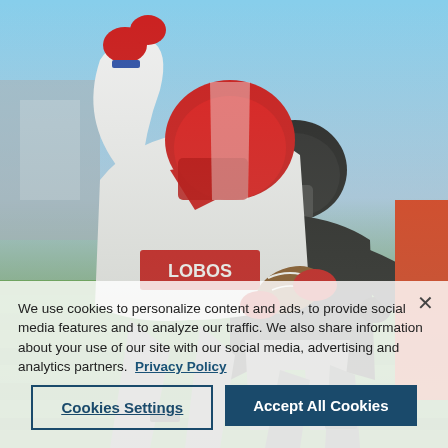[Figure (photo): Football players in action — a player in white uniform with red helmet and red gloves carrying the ball and being tackled by a player in black helmet and gray uniform, on a green field with stadium background.]
We use cookies to personalize content and ads, to provide social media features and to analyze our traffic. We also share information about your use of our site with our social media, advertising and analytics partners. Privacy Policy
Cookies Settings
Accept All Cookies